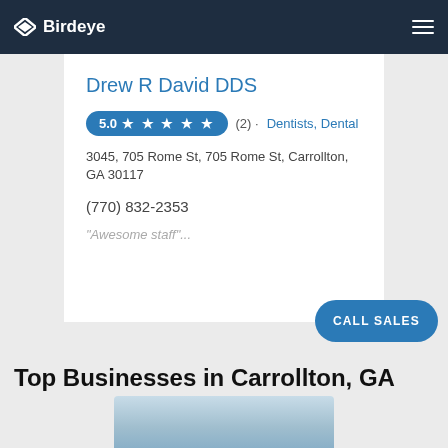Birdeye
Drew R David DDS
5.0 ★ ★ ★ ★ ★  (2) · Dentists, Dental
3045, 705 Rome St, 705 Rome St, Carrollton, GA 30117
(770) 832-2353
"Awesome staff"...
CALL SALES
Top Businesses in Carrollton, GA
[Figure (photo): Bottom partial image showing blurred blue-toned objects, likely dental equipment]